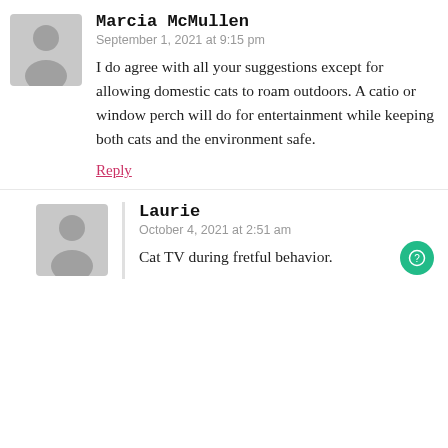[Figure (illustration): Gray placeholder avatar silhouette for user Marcia McMullen]
Marcia McMullen
September 1, 2021 at 9:15 pm
I do agree with all your suggestions except for allowing domestic cats to roam outdoors. A catio or window perch will do for entertainment while keeping both cats and the environment safe.
Reply
[Figure (illustration): Gray placeholder avatar silhouette for user Laurie]
Laurie
October 4, 2021 at 2:51 am
Cat TV during fretful behavior.